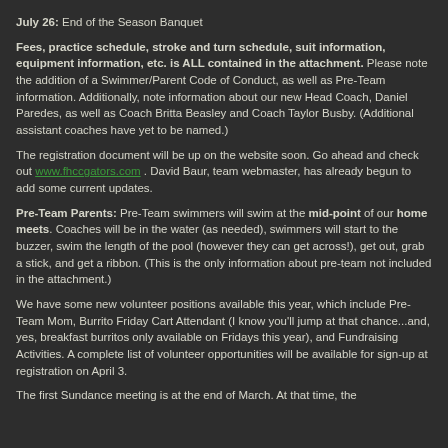July 26: End of the Season Banquet
Fees, practice schedule, stroke and turn schedule, suit information, equipment information, etc. is ALL contained in the attachment. Please note the addition of a Swimmer/Parent Code of Conduct, as well as Pre-Team information. Additionally, note information about our new Head Coach, Daniel Paredes, as well as Coach Britta Beasley and Coach Taylor Busby. (Additional assistant coaches have yet to be named.)
The registration document will be up on the website soon. Go ahead and check out www.fhccgators.com . David Baur, team webmaster, has already begun to add some current updates.
Pre-Team Parents: Pre-Team swimmers will swim at the mid-point of our home meets. Coaches will be in the water (as needed), swimmers will start to the buzzer, swim the length of the pool (however they can get across!), get out, grab a stick, and get a ribbon. (This is the only information about pre-team not included in the attachment.)
We have some new volunteer positions available this year, which include Pre-Team Mom, Burrito Friday Cart Attendant (I know you'll jump at that chance...and, yes, breakfast burritos only available on Fridays this year), and Fundraising Activities. A complete list of volunteer opportunities will be available for sign-up at registration on April 3.
The first Sundance meeting is at the end of March. At that time, the